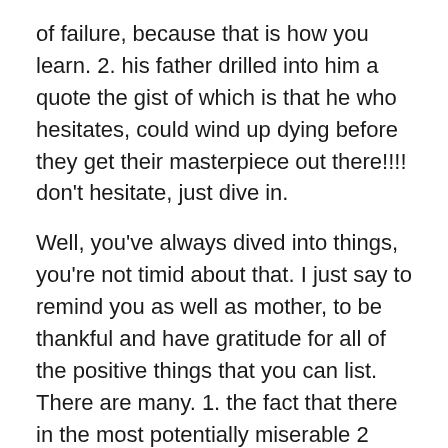of failure, because that is how you learn. 2. his father drilled into him a quote the gist of which is that he who hesitates, could wind up dying before they get their masterpiece out there!!!! don't hesitate, just dive in.
Well, you've always dived into things, you're not timid about that. I just say to remind you as well as mother, to be thankful and have gratitude for all of the positive things that you can list. There are many. 1. the fact that there in the most potentially miserable 2 weeks of your life in the hospital, there you met Carole Anne, who befriended you, with whom you bantered, and with whom you gained trust, sympathy and a bond, so that she gave you this beautiful ring to always, always have her close to your heart.
Think if you can, about how lucky you are for having the fucking brain, insights and perspective that you have, so